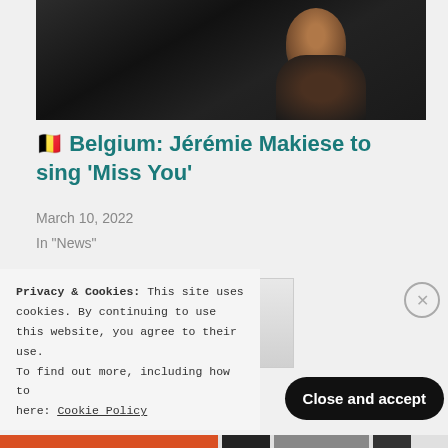[Figure (photo): Top portion of a person wearing a black leather jacket, dark background]
🇧🇪 Belgium: Jérémie Makiese to sing 'Miss You'
March 10, 2022
In "News"
[Figure (photo): Small thumbnail image of a person]
Privacy & Cookies: This site uses cookies. By continuing to use this website, you agree to their use. To find out more, including how to control cookies, see here: Cookie Policy
Close and accept